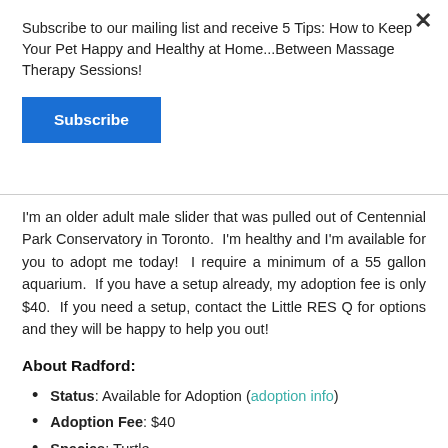Subscribe to our mailing list and receive 5 Tips: How to Keep Your Pet Happy and Healthy at Home...Between Massage Therapy Sessions!
Subscribe
I'm an older adult male slider that was pulled out of Centennial Park Conservatory in Toronto. I'm healthy and I'm available for you to adopt me today! I require a minimum of a 55 gallon aquarium. If you have a setup already, my adoption fee is only $40. If you need a setup, contact the Little RES Q for options and they will be happy to help you out!
About Radford:
Status: Available for Adoption (adoption info)
Adoption Fee: $40
Species: Turtle